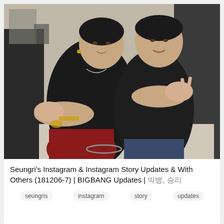[Figure (photo): Two young Asian men in black shirts posing together indoors, both making hand gestures toward the camera. The man on the left wears red metallic pants and has gold jewelry. They are crouching/leaning forward with arms outstretched.]
Seungri's Instagram & Instagram Story Updates & With Others (181206-7) | BIGBANG Updates | 빅뱅, 승리
seungris
instagram
story
updates